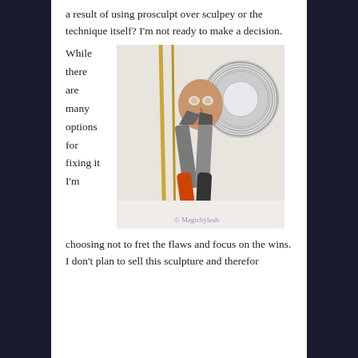a result of using prosculpt over sculpey or the technique itself? I'm not ready to make a decision.
While there are many options for fixing it I'm
[Figure (photo): A doll sculpted face/head alongside gold rods, pliers with orange handles, and a spool of silver wire on a white surface. Watermark reads '© Magicbyleah'.]
choosing not to fret the flaws and focus on the wins. I don't plan to sell this sculpture and therefor